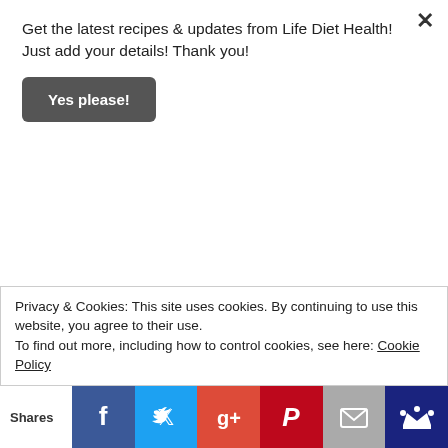Get the latest recipes & updates from Life Diet Health! Just add your details! Thank you!
Yes please!
5. Sprinkle the chia seeds over the raspberry mix and stir in. Cook for 30 seconds and remove from the heat.
6. Use the raspberry mixture to top up the moulds, pouring it onto the chocolate.
7. Level the tops and return to the freezer.
8. Check after thirty minutes to see if they are frozen and if
Privacy & Cookies: This site uses cookies. By continuing to use this website, you agree to their use.
To find out more, including how to control cookies, see here: Cookie Policy
Shares | Facebook | Twitter | Google+ | Pinterest | Email | Crown